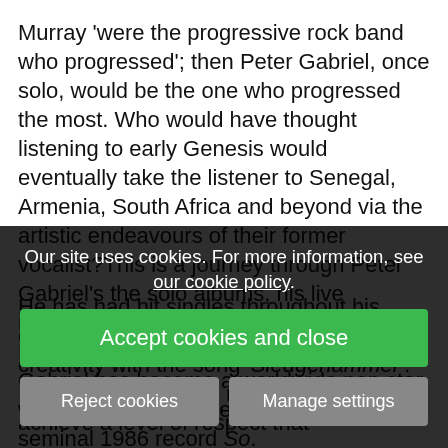Murray 'were the progressive rock band who progressed'; then Peter Gabriel, once solo, would be the one who progressed the most. Who would have thought listening to early Genesis would eventually take the listener to Senegal, Armenia, South Africa and beyond via the artistic endeavours of their former vocalist?This is a journey through Peter Gabriel's the solo albums, his live recordings and soundtrack compositions. During his forty-year plus solo career, Gabriel has become a worldwide pop star with his early, self-titled albums and his seminal 1986 record So.
He has had hit singles throughout his career, including poignant ... video creativity with the song 'Sledgehammer'. In doing so ... progressive rock background to achieve a level of respect that
Our site uses cookies. For more information, see our cookie policy.